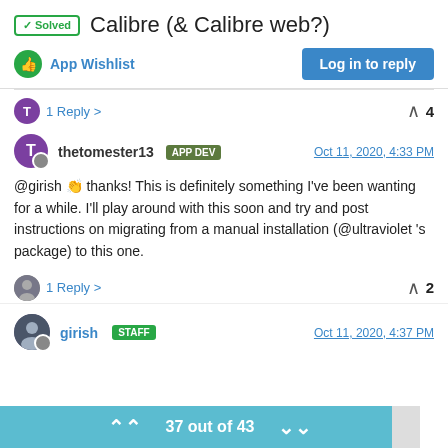✓ Solved  Calibre (& Calibre web?)
App Wishlist
Log in to reply
1 Reply >  4
thetomester13  APP DEV  Oct 11, 2020, 4:33 PM
@girish 👏 thanks! This is definitely something I've been wanting for a while. I'll play around with this soon and try and post instructions on migrating from a manual installation (@ultraviolet 's package) to this one.
1 Reply >  2
girish  STAFF  Oct 11, 2020, 4:37 PM
37 out of 43